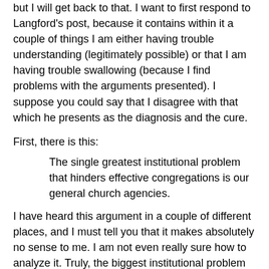but I will get back to that. I want to first respond to Langford's post, because it contains within it a couple of things I am either having trouble understanding (legitimately possible) or that I am having trouble swallowing (because I find problems with the arguments presented). I suppose you could say that I disagree with that which he presents as the diagnosis and the cure.
First, there is this:
The single greatest institutional problem that hinders effective congregations is our general church agencies.
I have heard this argument in a couple of different places, and I must tell you that it makes absolutely no sense to me. I am not even really sure how to analyze it. Truly, the biggest institutional problem we have is our general church agencies?! To take the argument just a bit further, Langford seems to be saying that the institutional problems of clergy effectiveness, young clergy recruitment, the lack of an open